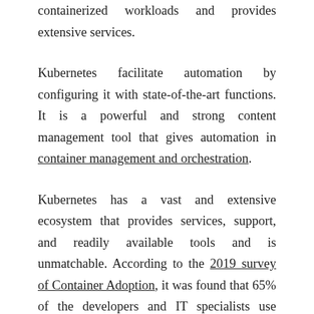containerized workloads and provides extensive services.
Kubernetes facilitate automation by configuring it with state-of-the-art functions. It is a powerful and strong content management tool that gives automation in container management and orchestration.
Kubernetes has a vast and extensive ecosystem that provides services, support, and readily available tools and is unmatchable. According to the 2019 survey of Container Adoption, it was found that 65% of the developers and IT specialists use container orchestration tools as their first-picked choice for cloud computing.